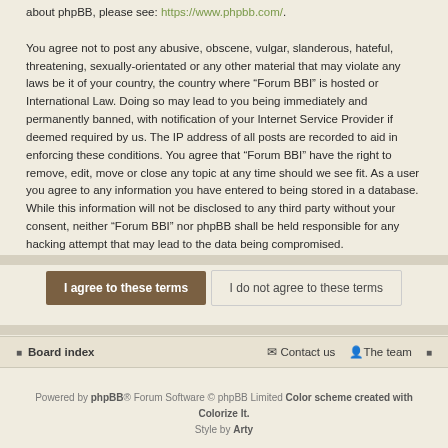about phpBB, please see: https://www.phpbb.com/.
You agree not to post any abusive, obscene, vulgar, slanderous, hateful, threatening, sexually-orientated or any other material that may violate any laws be it of your country, the country where “Forum BBI” is hosted or International Law. Doing so may lead to you being immediately and permanently banned, with notification of your Internet Service Provider if deemed required by us. The IP address of all posts are recorded to aid in enforcing these conditions. You agree that “Forum BBI” have the right to remove, edit, move or close any topic at any time should we see fit. As a user you agree to any information you have entered to being stored in a database. While this information will not be disclosed to any third party without your consent, neither “Forum BBI” nor phpBB shall be held responsible for any hacking attempt that may lead to the data being compromised.
I agree to these terms | I do not agree to these terms
Board index | Contact us | The team
Powered by phpBB® Forum Software © phpBB Limited Color scheme created with Colorize It. Style by Arty